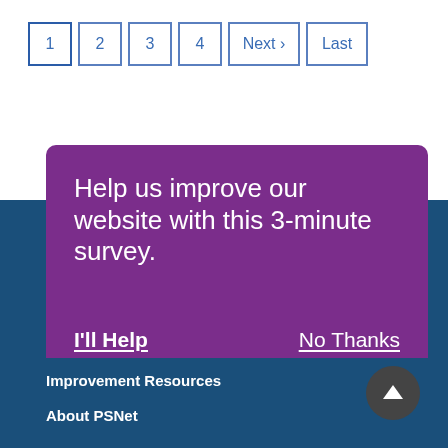1 2 3 4 Next › Last
Help us improve our website with this 3-minute survey.
I'll Help
No Thanks
Improvement Resources
About PSNet